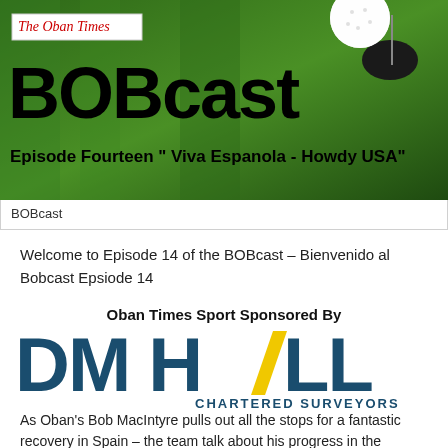[Figure (photo): Golf ball near hole on green grass — BOBcast Episode Fourteen banner with The Oban Times logo, BOBcast title in large black text, subtitle 'Episode Fourteen Viva Espanola - Howdy USA']
BOBcast
Welcome to Episode 14 of the BOBcast – Bienvenido al Bobcast Epsiode 14
Oban Times Sport Sponsored By
[Figure (logo): DM Hall Chartered Surveyors logo — large dark teal DM HALL text with yellow diagonal slash through the A, CHARTERED SURVEYORS below in teal]
As Oban's Bob MacIntyre pulls out all the stops for a fantastic recovery in Spain – the team talk about his progress in the